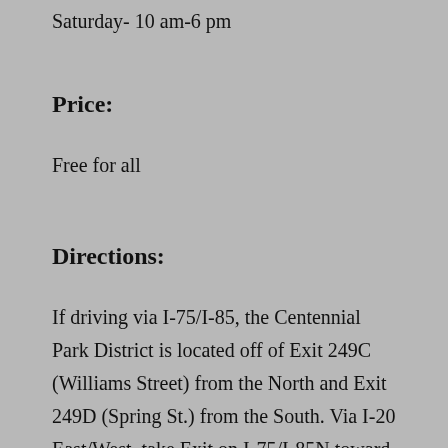Saturday- 10 am-6 pm
Price:
Free for all
Directions:
If driving via I-75/I-85, the Centennial Park District is located off of Exit 249C (Williams Street) from the North and Exit 249D (Spring St.) from the South. Via I-20 East/West, take Exit on I-75/I-85N toward Atlanta. Exit 249D (Spring St.). Spring Street veers left and